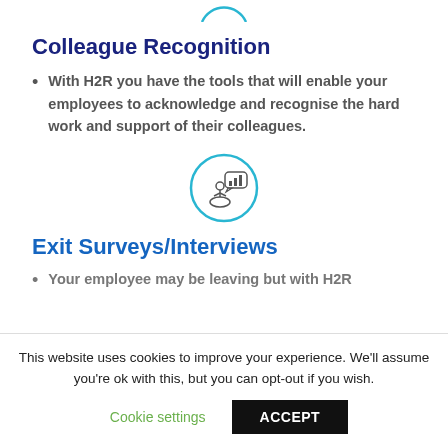[Figure (illustration): Partial circular icon at the top of the page (cropped, showing bottom arc with a recogniton/award symbol in light blue)]
Colleague Recognition
With H2R you have the tools that will enable your employees to acknowledge and recognise the hard work and support of their colleagues.
[Figure (illustration): Circular icon with a person and a speech bubble containing a bar chart, in light blue outline style]
Exit Surveys/Interviews
Your employee may be leaving but with H2R
This website uses cookies to improve your experience. We'll assume you're ok with this, but you can opt-out if you wish.
Cookie settings   ACCEPT